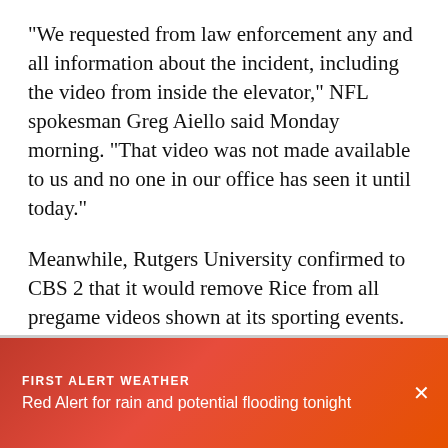"We requested from law enforcement any and all information about the incident, including the video from inside the elevator," NFL spokesman Greg Aiello said Monday morning. "That video was not made available to us and no one in our office has seen it until today."
Meanwhile, Rutgers University confirmed to CBS 2 that it would remove Rice from all pregame videos shown at its sporting events. The university said the video is only for current NFL players.
FIRST ALERT WEATHER
Red Alert for rain and potential flooding tonight